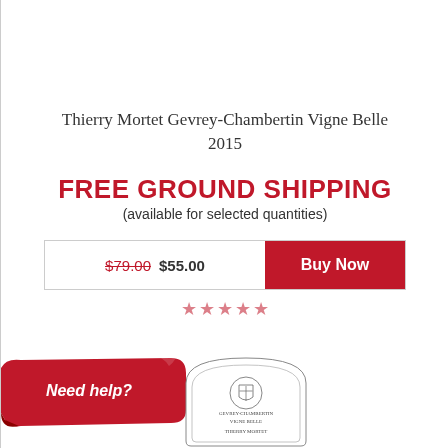Thierry Mortet Gevrey-Chambertin Vigne Belle 2015
FREE GROUND SHIPPING (available for selected quantities)
$79.00 $55.00  Buy Now
[Figure (other): Five empty red star rating icons]
[Figure (other): Red curling banner with 'Need help?' text]
[Figure (other): Wine bottle label for Thierry Mortet Gevrey-Chambertin with crest illustration]